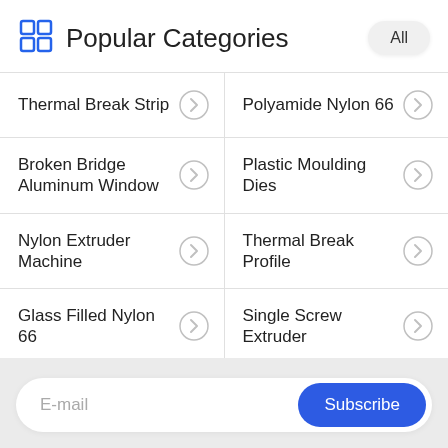Popular Categories
| Thermal Break Strip | Polyamide Nylon 66 |
| Broken Bridge Aluminum Window | Plastic Moulding Dies |
| Nylon Extruder Machine | Thermal Break Profile |
| Glass Filled Nylon 66 | Single Screw Extruder |
E-mail
Subscribe